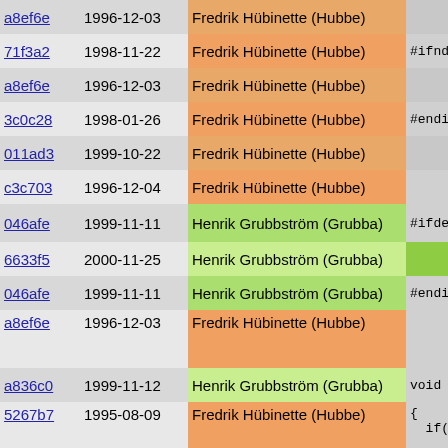| hash | date | author | code |
| --- | --- | --- | --- |
| a8ef6e | 1996-12-03 | Fredrik Hübinette (Hubbe) | } |
| 71f3a2 | 1998-11-22 | Fredrik Hübinette (Hubbe) | #ifndef PIKE |
| a8ef6e | 1996-12-03 | Fredrik Hübinette (Hubbe) | } |
| 3c0c28 | 1998-01-26 | Fredrik Hübinette (Hubbe) | #endif |
| 011ad3 | 1999-10-22 | Fredrik Hübinette (Hubbe) | free_al |
| c3c703 | 1996-12-04 | Fredrik Hübinette (Hubbe) | cumulat |
| 046afe | 1999-11-11 | Henrik Grubbström (Grubba) | #ifdef SHAR |
| 6633f5 | 2000-11-25 | Henrik Grubbström (Grubba) | /* MEMSE |
| 046afe | 1999-11-11 | Henrik Grubbström (Grubba) | #endif /* SH |
| a8ef6e | 1996-12-03 | Fredrik Hübinette (Hubbe) |   }
} |
| a836c0 | 1999-11-12 | Henrik Grubbström (Grubba) | void debug_t |
| 5267b7 | 1995-08-09 | Fredrik Hübinette (Hubbe) | {
  if(!n) re |
| 046afe | 1999-11-11 | Henrik Grubbström (Grubba) | #ifdef SHARE |
| 03ef8b | 2000-09-13 | Henrik Grubbström (Grubba) | if (--n->h
#ifdef PIKE_
  if(l_fla |